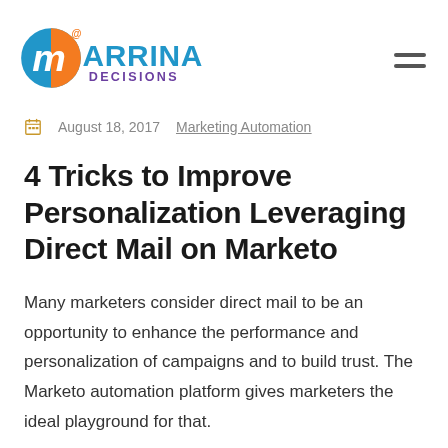[Figure (logo): Marrina Decisions logo with orange and blue circular icon and blue/purple text]
August 18, 2017    Marketing Automation
4 Tricks to Improve Personalization Leveraging Direct Mail on Marketo
Many marketers consider direct mail to be an opportunity to enhance the performance and personalization of campaigns and to build trust. The Marketo automation platform gives marketers the ideal playground for that.